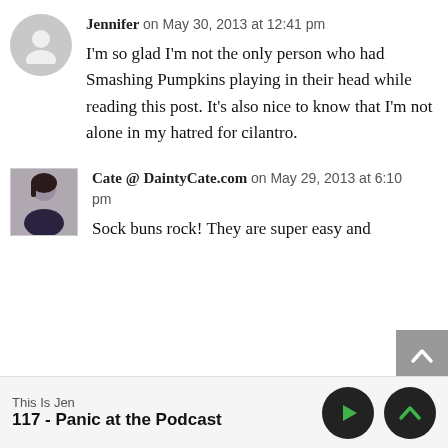Jennifer on May 30, 2013 at 12:41 pm
I’m so glad I’m not the only person who had Smashing Pumpkins playing in their head while reading this post. It’s also nice to know that I’m not alone in my hatred for cilantro.
Cate @ DaintyCate.com on May 29, 2013 at 6:10 pm
Sock buns rock! They are super easy and
This Is Jen
117 - Panic at the Podcast